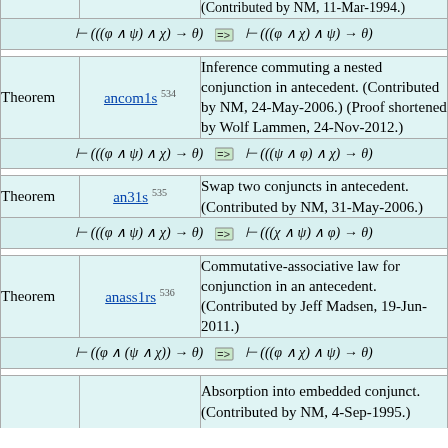| Type | Name | Description |
| --- | --- | --- |
|  |  | (Contributed by NM, 11-Mar-1994.) |
| FORMULA |  | ⊢ (((φ ∧ ψ) ∧ χ) → θ)  =>  ⊢ (((φ ∧ χ) ∧ ψ) → θ) |
| Theorem | ancom1s 534 | Inference commuting a nested conjunction in antecedent. (Contributed by NM, 24-May-2006.) (Proof shortened by Wolf Lammen, 24-Nov-2012.) |
| FORMULA |  | ⊢ (((φ ∧ ψ) ∧ χ) → θ)  =>  ⊢ (((ψ ∧ φ) ∧ χ) → θ) |
| Theorem | an31s 535 | Swap two conjuncts in antecedent. (Contributed by NM, 31-May-2006.) |
| FORMULA |  | ⊢ (((φ ∧ ψ) ∧ χ) → θ)  =>  ⊢ (((χ ∧ ψ) ∧ φ) → θ) |
| Theorem | anass1rs 536 | Commutative-associative law for conjunction in an antecedent. (Contributed by Jeff Madsen, 19-Jun-2011.) |
| FORMULA |  | ⊢ ((φ ∧ (ψ ∧ χ)) → θ)  =>  ⊢ (((φ ∧ χ) ∧ ψ) → θ) |
| Theorem |  | Absorption into embedded conjunct. (Contributed by NM, 4-Sep-1995.) |